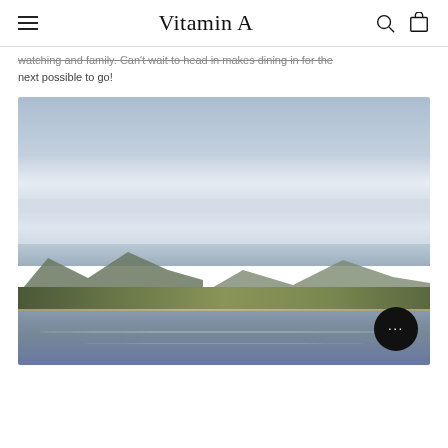Vitamin A
...watching and family. Can't wait to head in makes dining in for the next possible to go!
[Figure (photo): Landscape photo showing a calm lake in the foreground with mountains in the background under a cloudy blue-grey sky. A chat support button with three dots appears in the lower right corner of the image.]